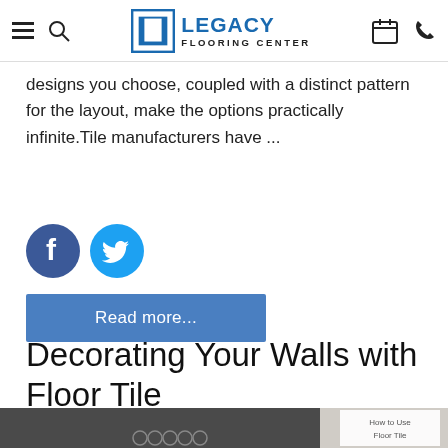Legacy Flooring Center
designs you choose, coupled with a distinct pattern for the layout, make the options practically infinite.Tile manufacturers have ...
[Figure (logo): Facebook and Twitter social share icons (blue circles with f and bird logos)]
Read more...
Decorating Your Walls with Floor Tile
[Figure (photo): Room interior showing dark brick wall with fireplace and decorative tile. Inset caption reads 'How to Use Floor Tile']